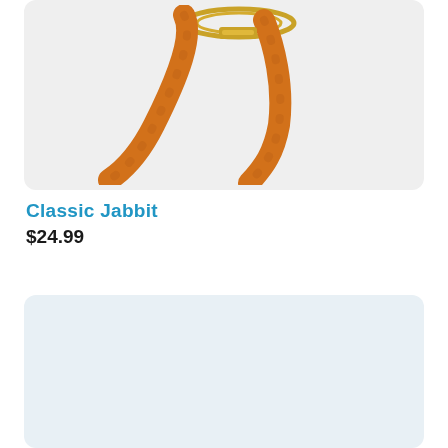[Figure (photo): Product photo showing a Jabbit item with orange/wood-colored curved arms and a gold/brass ring element, displayed on a light gray rounded-corner card background]
Classic Jabbit
$24.99
[Figure (photo): Light blue-tinted empty product card placeholder at the bottom of the page]